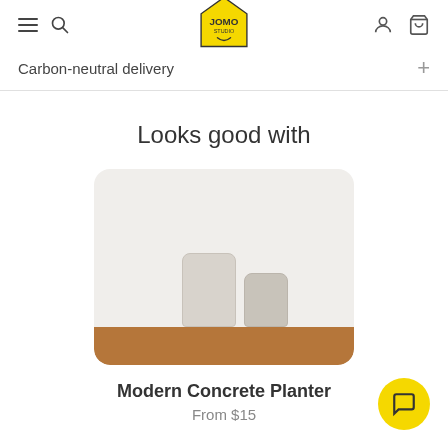JOMO STUDIO — Carbon-neutral delivery
Looks good with
[Figure (photo): Two small cylindrical concrete planters (one taller, one shorter) placed on a wooden surface against a light background, displayed on a rounded-corner card.]
Modern Concrete Planter
From $15